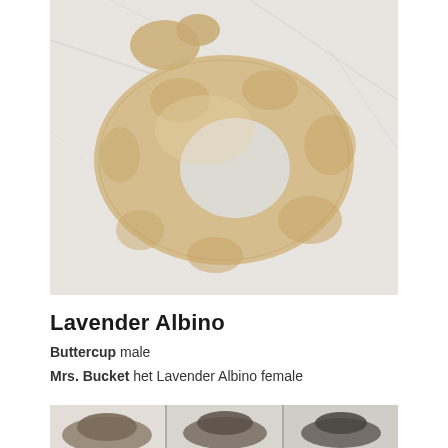[Figure (photo): A ball python with lavender albino coloring (pale yellow/cream body with light tan saddle patches) coiled on a white marble surface, photographed from above.]
Lavender Albino
Buttercup male
Mrs. Bucket het Lavender Albino female
[Figure (photo): Partial photo showing close-up head shots of snakes on a light background, cropped at bottom of page.]